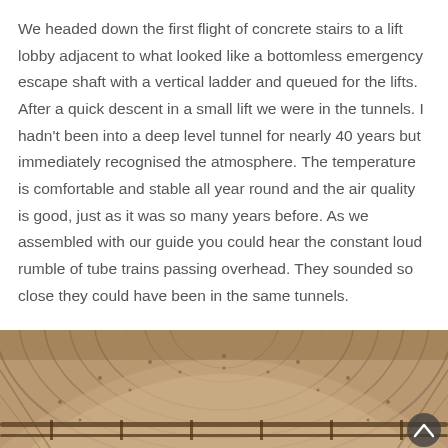We headed down the first flight of concrete stairs to a lift lobby adjacent to what looked like a bottomless emergency escape shaft with a vertical ladder and queued for the lifts. After a quick descent in a small lift we were in the tunnels. I hadn't been into a deep level tunnel for nearly 40 years but immediately recognised the atmosphere. The temperature is comfortable and stable all year round and the air quality is good, just as it was so many years before. As we assembled with our guide you could hear the constant loud rumble of tube trains passing overhead. They sounded so close they could have been in the same tunnels.
[Figure (photo): Interior photograph of a tunnel, showing curved corrugated metal or tiled ceiling with rivets and a handrail in the foreground. The image has a warm sepia/brown tone.]